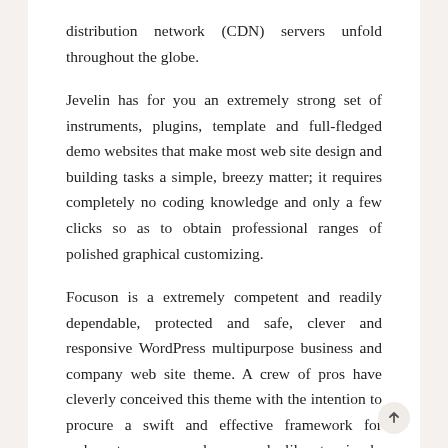distribution network (CDN) servers unfold throughout the globe.
Jevelin has for you an extremely strong set of instruments, plugins, template and full-fledged demo websites that make most web site design and building tasks a simple, breezy matter; it requires completely no coding knowledge and only a few clicks so as to obtain professional ranges of polished graphical customizing.
Focuson is a extremely competent and readily dependable, protected and safe, clever and responsive WordPress multipurpose business and company web site theme. A crew of pros have cleverly conceived this theme with the intention to procure a swift and effective framework for webmasters, new and seasoned alike, to simply put together refined modern websites in the blink of an eye.